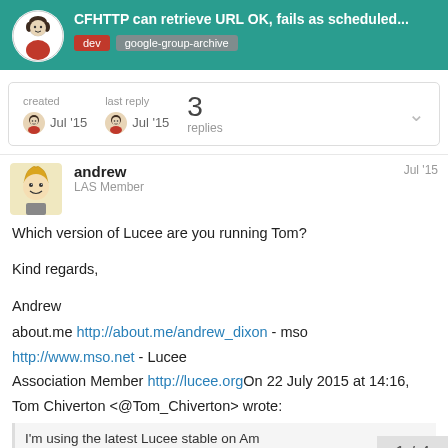CFHTTP can retrieve URL OK, fails as scheduled... dev google-group-archive
| created | last reply | replies |
| --- | --- | --- |
| Jul '15 | Jul '15 | 3 |
andrew
LAS Member
Jul '15
Which version of Lucee are you running Tom?

Kind regards,

Andrew
about.me http://about.me/andrew_dixon - mso
http://www.mso.net - Lucee
Association Member http://lucee.orgOn 22 July 2015 at 14:16, Tom Chiverton <@Tom_Chiverton> wrote:
I'm using the latest Lucee stable on Am
1 / 4